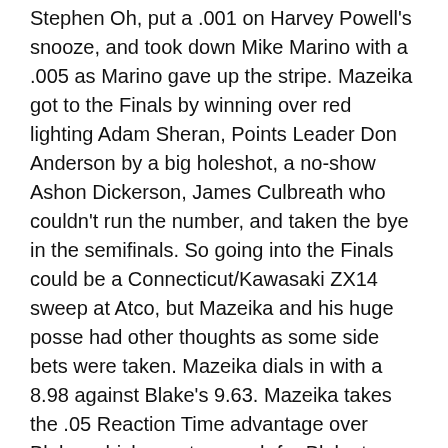Stephen Oh, put a .001 on Harvey Powell's snooze, and took down Mike Marino with a .005 as Marino gave up the stripe. Mazeika got to the Finals by winning over red lighting Adam Sheran, Points Leader Don Anderson by a big holeshot, a no-show Ashon Dickerson, James Culbreath who couldn't run the number, and taken the bye in the semifinals. So going into the Finals could be a Connecticut/Kawasaki ZX14 sweep at Atco, but Mazeika and his huge posse had other thoughts as some side bets were taken. Mazeika dials in with a 8.98 against Blake's 9.63. Mazeika takes the .05 Reaction Time advantage over Blake, which was too much for Blake to make up. Mazeika ran a rolling off 9.045 to Blake's 9.673. Mazeika takes home the $600 check, $200 from Worldwide Bearings, $50 from MTC, $50 from MPS, $25 from Fast by Gast, and $100 product certificate from Vanson Leathers. Blake takes home the $300 runner-up check, $50 from Worldwide Bearings, and $75 Product Certificate from Vanson Leathers.